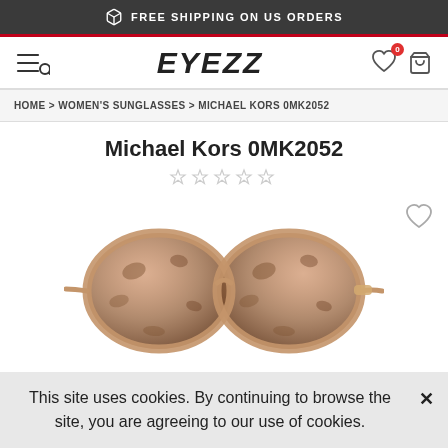FREE SHIPPING ON US ORDERS
EYEZZ
HOME > WOMEN'S SUNGLASSES > MICHAEL KORS 0MK2052
Michael Kors 0MK2052
[Figure (photo): Michael Kors 0MK2052 cat-eye sunglasses with tortoiseshell pink frame and gold temples, brown gradient lenses]
This site uses cookies. By continuing to browse the site, you are agreeing to our use of cookies.